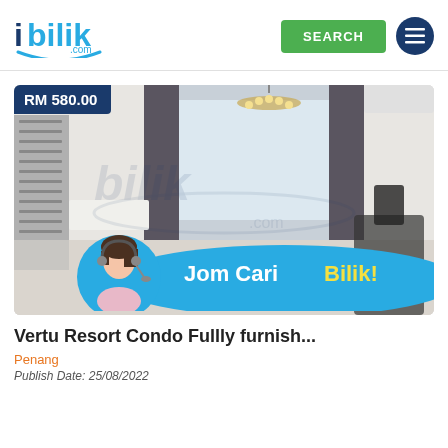[Figure (logo): iBilik.com logo with blue text and green smile]
[Figure (screenshot): Screenshot of iBilik.com property listing page showing a condo interior with RM 580.00 price badge and Jom Cari Bilik promotional banner]
Vertu Resort Condo Fullly furnish...
Penang
Publish Date: 25/08/2022